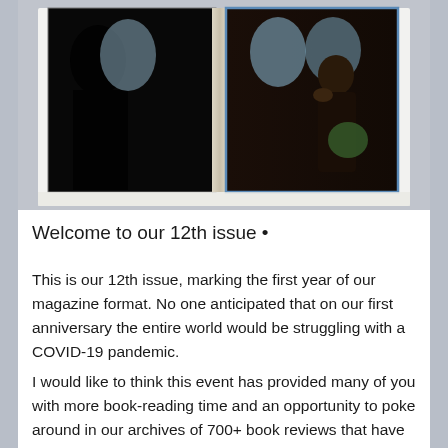[Figure (photo): Open book/magazine spread showing a dark photo of silhouettes and a person seated by airplane windows, placed on a light surface]
Welcome to our 12th issue •
This is our 12th issue, marking the first year of our magazine format. No one anticipated that on our first anniversary the entire world would be struggling with a COVID-19 pandemic.
I would like to think this event has provided many of you with more book-reading time and an opportunity to poke around in our archives of 700+ book reviews that have been published